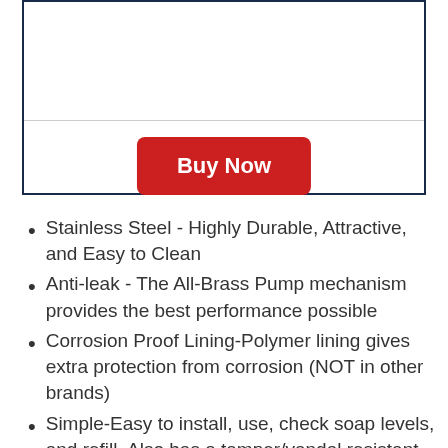[Figure (other): Product image area inside bordered box (top portion, above divider)]
[Figure (other): Red 'Buy Now' button inside bordered box]
Stainless Steel - Highly Durable, Attractive, and Easy to Clean
Anti-leak - The All-Brass Pump mechanism provides the best performance possible
Corrosion Proof Lining-Polymer lining gives extra protection from corrosion (NOT in other brands)
Simple-Easy to install, use, check soap levels, and refill. Also has a tamper/vandal resistant